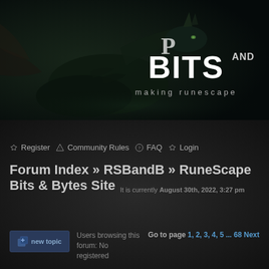[Figure (screenshot): Website banner with dark fantasy artwork showing a green dragon, text reading 'BITS AND' and 'making runescape' below]
Register  Community Rules  FAQ  Login
Forum Index » RSBandB » RuneScape Bits & Bytes Site
It is currently August 30th, 2022, 3:27 pm
Users browsing this forum: No registered
Go to page 1, 2, 3, 4, 5 ... 68 Next